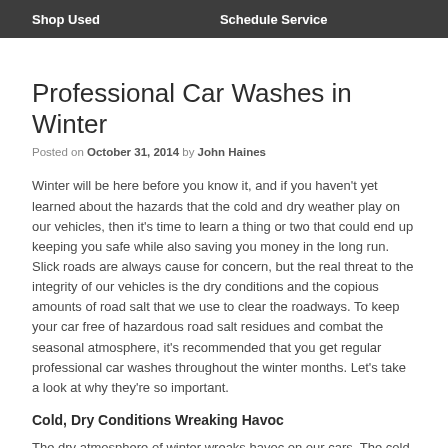Shop Used   Schedule Service
Professional Car Washes in Winter
Posted on October 31, 2014 by John Haines
Winter will be here before you know it, and if you haven't yet learned about the hazards that the cold and dry weather play on our vehicles, then it's time to learn a thing or two that could end up keeping you safe while also saving you money in the long run. Slick roads are always cause for concern, but the real threat to the integrity of our vehicles is the dry conditions and the copious amounts of road salt that we use to clear the roadways. To keep your car free of hazardous road salt residues and combat the seasonal atmosphere, it's recommended that you get regular professional car washes throughout the winter months. Let's take a look at why they're so important.
Cold, Dry Conditions Wreaking Havoc
The dry atmosphere of winter wreaks havoc on our cars. The cold climate...